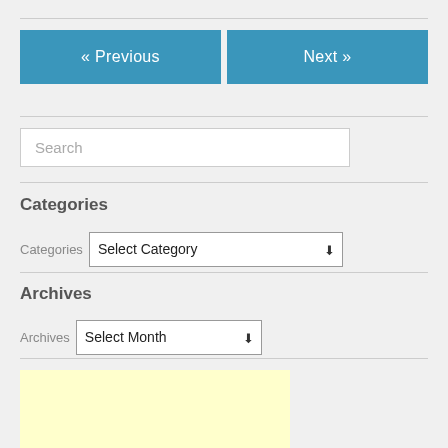« Previous
Next »
Search
Categories
Categories  Select Category
Archives
Archives  Select Month
[Figure (other): Yellow advertisement placeholder box]